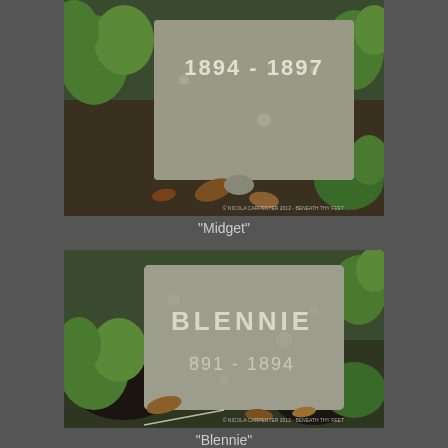[Figure (photo): Photo of a weathered stone grave marker with text '1894 - 1897' partially visible, surrounded by green plants and leaves. Watermark reads '© NICOLA CARPENTER 2012 - BENEATH THY FEET'.]
"Midget"
[Figure (photo): Photo of a weathered stone grave marker with 'BLENNIE' engraved on it and '891 - 1894' (likely 1891-1894) below, surrounded by green plants and fallen leaves. Watermark reads '© NICOLA CARPENTER 2012 - BENEATH THY FEET'.]
"Blennie"